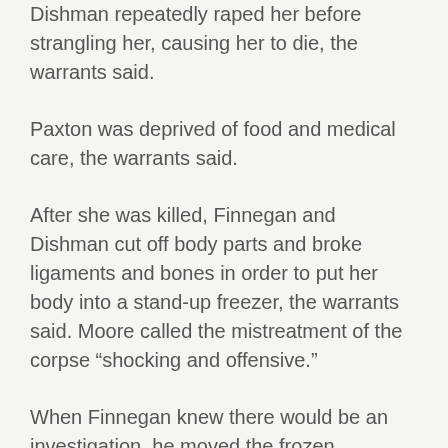Dishman repeatedly raped her before strangling her, causing her to die, the warrants said.
Paxton was deprived of food and medical care, the warrants said.
After she was killed, Finnegan and Dishman cut off body parts and broke ligaments and bones in order to put her body into a stand-up freezer, the warrants said. Moore called the mistreatment of the corpse “shocking and offensive.”
When Finnegan knew there would be an investigation, he moved the frozen decomposing body from the freezer and hid it under his bed, the warrants said. He allegedly